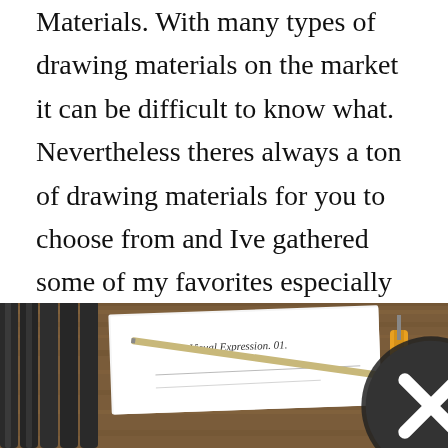Materials. With many types of drawing materials on the market it can be difficult to know what. Nevertheless theres always a ton of drawing materials for you to choose from and Ive gathered some of my favorites especially if youre a beginner and just. A list of all the supplies you need to get started drawing. Product Sketch Wood Material November Texturas Dibujo Tecnicas De Dibujo Tecnicas De Representacion.
[Figure (photo): A photo of drawing supplies on a wooden surface: markers/pens, a pencil, a ruler, a screwdriver, and a piece of paper with handwritten text 'Visual Expression 01'. A close button (X in a circle) overlays the bottom center of the image.]